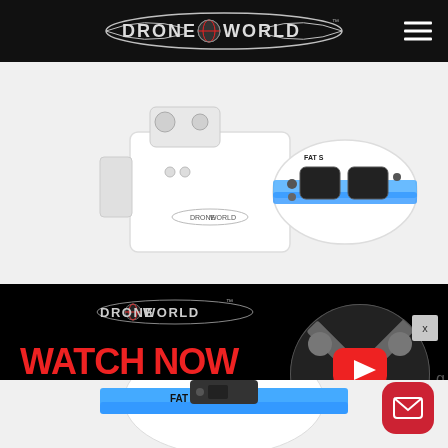DRONE WORLD (logo header with hamburger menu)
[Figure (photo): Product photo showing a DJI Phantom drone controller/battery adapter with Drone World branding and FatShark FPV goggles on white background]
[Figure (photo): Drone World promotional banner ad with text WATCH NOW PHANTOM 3, featuring the Drone World logo and a YouTube play button overlaid on a circular image of a DJI Phantom 3 drone]
[Figure (photo): Partial bottom product image showing FatShark FPV goggles in blue and white]